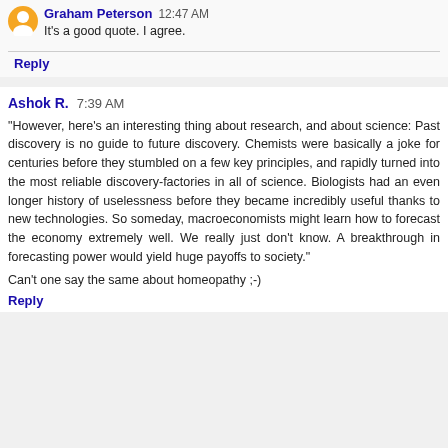Graham Peterson 12:47 AM
It's a good quote. I agree.
Reply
Ashok R. 7:39 AM
"However, here's an interesting thing about research, and about science: Past discovery is no guide to future discovery. Chemists were basically a joke for centuries before they stumbled on a few key principles, and rapidly turned into the most reliable discovery-factories in all of science. Biologists had an even longer history of uselessness before they became incredibly useful thanks to new technologies. So someday, macroeconomists might learn how to forecast the economy extremely well. We really just don't know. A breakthrough in forecasting power would yield huge payoffs to society."
Can't one say the same about homeopathy ;-)
Reply